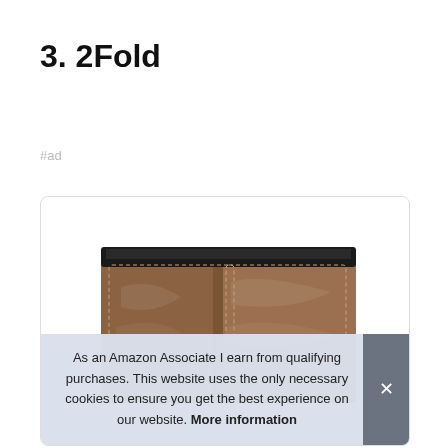3. 2Fold
#ad
[Figure (photo): Product photo of a brown leather bifold wallet standing upright, showing the open edge with black interior visible at top, displayed inside a rounded-corner card.]
As an Amazon Associate I earn from qualifying purchases. This website uses the only necessary cookies to ensure you get the best experience on our website. More information